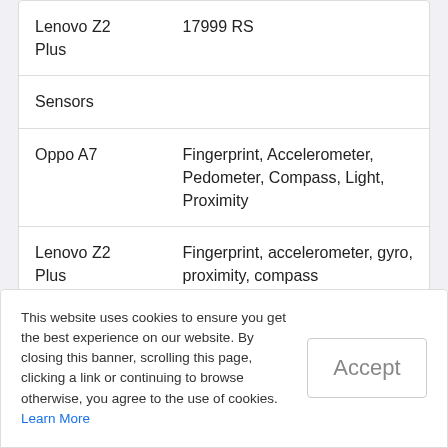| Device | Detail |
| --- | --- |
| Lenovo Z2 Plus | 17999 RS |
| Sensors |  |
| Oppo A7 | Fingerprint, Accelerometer, Pedometer, Compass, Light, Proximity |
| Lenovo Z2 Plus | Fingerprint, accelerometer, gyro, proximity, compass |
This website uses cookies to ensure you get the best experience on our website. By closing this banner, scrolling this page, clicking a link or continuing to browse otherwise, you agree to the use of cookies. Learn More